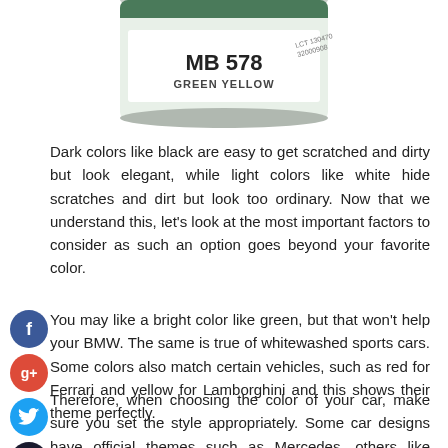[Figure (photo): A round paint can with label reading MB 578 GREEN YELLOW, partially cropped at top of page]
Dark colors like black are easy to get scratched and dirty but look elegant, while light colors like white hide scratches and dirt but look too ordinary. Now that we understand this, let's look at the most important factors to consider as such an option goes beyond your favorite color.
[Figure (other): Social media icons: Facebook (blue), Google+ (red), Twitter (blue), Add/Plus (dark navy)]
You may like a bright color like green, but that won't help your BMW. The same is true of whitewashed sports cars. Some colors also match certain vehicles, such as red for Ferrari and yellow for Lamborghini and this shows their theme perfectly.
Therefore, when choosing the color of your car, make sure you set the style appropriately. Some car designs have official themes such as Mercedes, others like Subaru's trend towards